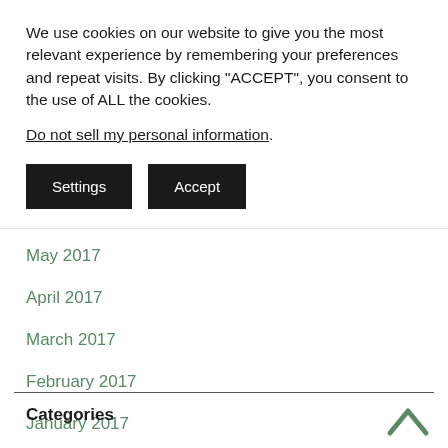We use cookies on our website to give you the most relevant experience by remembering your preferences and repeat visits. By clicking “ACCEPT”, you consent to the use of ALL the cookies. Do not sell my personal information.
May 2017
April 2017
March 2017
February 2017
January 2017
Categories